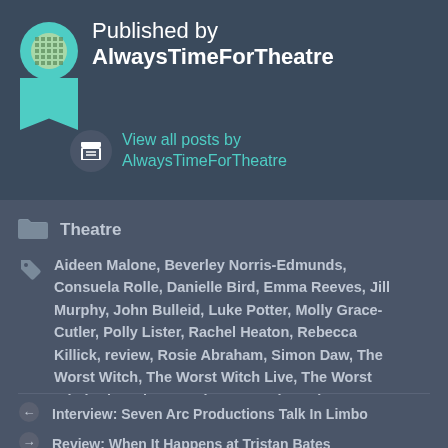Published by AlwaysTimeForTheatre
View all posts by AlwaysTimeForTheatre
Theatre
Aideen Malone, Beverley Norris-Edmunds, Consuela Rolle, Danielle Bird, Emma Reeves, Jill Murphy, John Bulleid, Luke Potter, Molly Grace-Cutler, Polly Lister, Rachel Heaton, Rebecca Killick, review, Rosie Abraham, Simon Daw, The Worst Witch, The Worst Witch Live, The Worst Witch Play, Theatre, Theatre Review, Theresa Heskins, Vicki Amedume, West End
Interview: Seven Arc Productions Talk In Limbo
Review: When It Happens at Tristan Bates